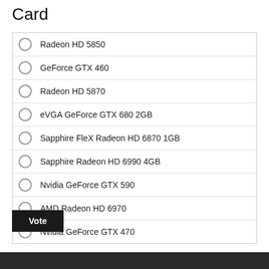Card
Radeon HD 5850
GeForce GTX 460
Radeon HD 5870
eVGA GeForce GTX 680 2GB
Sapphire FleX Radeon HD 6870 1GB
Sapphire Radeon HD 6990 4GB
Nvidia GeForce GTX 590
AMD Radeon HD 6970
Nvidia GeForce GTX 470